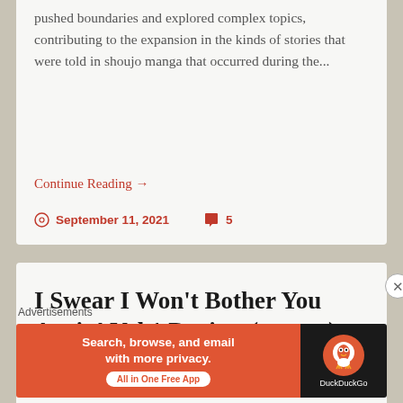pushed boundaries and explored complex topics, contributing to the expansion in the kinds of stories that were told in shoujo manga that occurred during the...
Continue Reading →
September 11, 2021  5
I Swear I Won't Bother You Again! Vol 1 Review (manga)
Advertisements
[Figure (screenshot): DuckDuckGo advertisement banner: orange background with text 'Search, browse, and email with more privacy. All in One Free App' and DuckDuckGo logo on dark right panel]